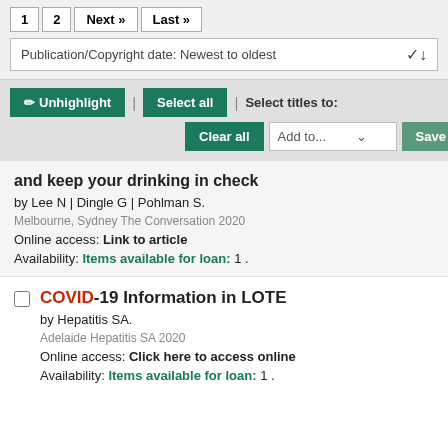[Figure (screenshot): Pagination bar with page numbers 1, 2, Next and Last navigation buttons]
[Figure (screenshot): Sort dropdown: Publication/Copyright date: Newest to oldest]
[Figure (screenshot): Action buttons: Unhighlight, Select all, Clear all, Select titles to: Add to... Save]
and keep your drinking in check
by Lee N | Dingle G | Pohlman S.
Melbourne, Sydney The Conversation 2020
Online access: Link to article
Availability: Items available for loan: 1 .
COVID-19 Information in LOTE
by Hepatitis SA.
Adelaide Hepatitis SA 2020
Online access: Click here to access online
Availability: Items available for loan: 1 .